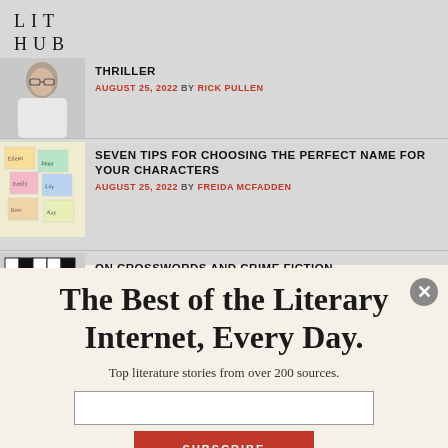LIT HUB
THRILLER — AUGUST 25, 2022 BY RICK PULLEN
SEVEN TIPS FOR CHOOSING THE PERFECT NAME FOR YOUR CHARACTERS — AUGUST 25, 2022 BY FREIDA MCFADDEN
ON CROSSWORDS AND CRIME FICTION
The Best of the Literary Internet, Every Day.
Top literature stories from over 200 sources.
SUBSCRIBE